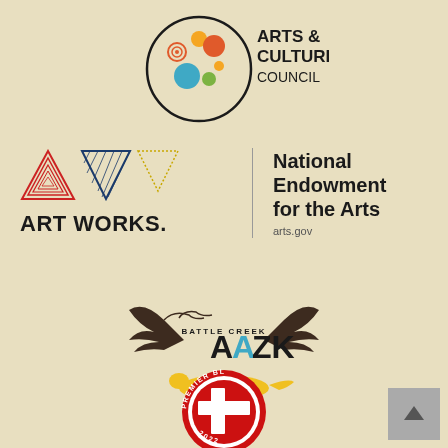[Figure (logo): Arts & Culture Council logo with colorful circles and text]
[Figure (logo): Art Works / National Endowment for the Arts logo with triangles and arts.gov URL]
[Figure (logo): Battle Creek AAZK logo with eagle wings and cheetah]
[Figure (logo): Premier Blood Partner 2022 American Red Cross badge]